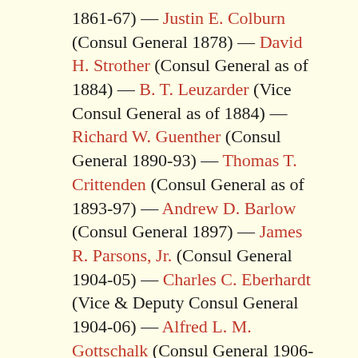1861-67) — Justin E. Colburn (Consul General 1878) — David H. Strother (Consul General as of 1884) — B. T. Leuzarder (Vice Consul General as of 1884) — Richard W. Guenther (Consul General 1890-93) — Thomas T. Crittenden (Consul General as of 1893-97) — Andrew D. Barlow (Consul General 1897) — James R. Parsons, Jr. (Consul General 1904-05) — Charles C. Eberhardt (Vice & Deputy Consul General 1904-06) — Alfred L. M. Gottschalk (Consul General 1906-08) — Benjamin H. Ridgely (Consul General 1908) — Arnold Shanklin (Consul General 1909-14) — Henry M. Wolcott (Vice & Deputy Consul 1912-14) — Joseph W. Rowe (Vice Consul as of 1917) — Thomas McEnelly (Vice Consul 1918-